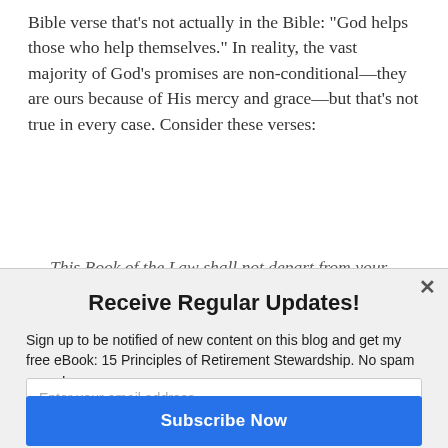Bible verse that's not actually in the Bible: "God helps those who help themselves." In reality, the vast majority of God's promises are non-conditional—they are ours because of His mercy and grace—but that's not true in every case. Consider these verses:
This Book of the Law shall not depart from your mouth, but you shall meditate on it day and night, so
Receive Regular Updates!
Sign up to be notified of new content on this blog and get my free eBook: 15 Principles of Retirement Stewardship. No spam - ever!
Enter your email address
Subscribe Now